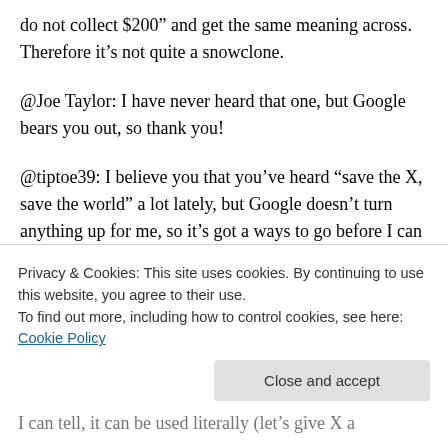do not collect $200” and get the same meaning across. Therefore it’s not quite a snowclone.
@Joe Taylor: I have never heard that one, but Google bears you out, so thank you!
@tiptoe39: I believe you that you’ve heard “save the X, save the world” a lot lately, but Google doesn’t turn anything up for me, so it’s got a ways to go before I can write about it. 🙂
@Mats: I think “two cheers for X” is not idiomatic
Privacy & Cookies: This site uses cookies. By continuing to use this website, you agree to their use.
To find out more, including how to control cookies, see here: Cookie Policy
I can tell, it can be used literally (let’s give X a